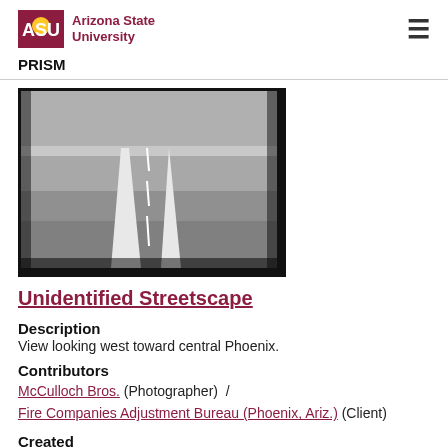Arizona State University | PRISM
[Figure (photo): Black and white photograph of a road/streetscape viewed from above, with white lane markings on pavement, looking west toward central Phoenix.]
Unidentified Streetscape
Description
View looking west toward central Phoenix.
Contributors
McCulloch Bros. (Photographer)  /  Fire Companies Adjustment Bureau (Phoenix, Ariz.) (Client)
Created
1944-07-10